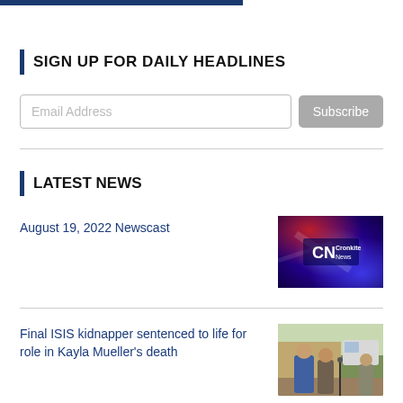SIGN UP FOR DAILY HEADLINES
Email Address
Subscribe
LATEST NEWS
August 19, 2022 Newscast
[Figure (screenshot): Cronkite News logo on red and blue background]
Final ISIS kidnapper sentenced to life for role in Kayla Mueller's death
[Figure (photo): People standing outside near a van, appears to be outdoor press event]